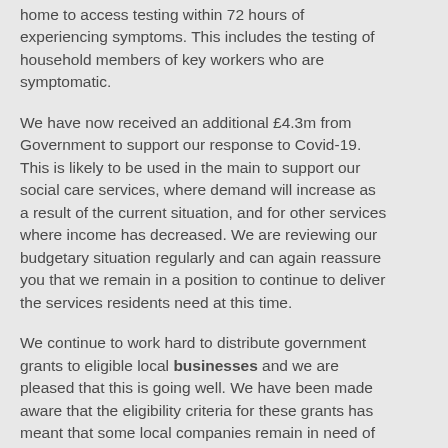home to access testing within 72 hours of experiencing symptoms. This includes the testing of household members of key workers who are symptomatic.
We have now received an additional £4.3m from Government to support our response to Covid-19. This is likely to be used in the main to support our social care services, where demand will increase as a result of the current situation, and for other services where income has decreased. We are reviewing our budgetary situation regularly and can again reassure you that we remain in a position to continue to deliver the services residents need at this time.
We continue to work hard to distribute government grants to eligible local businesses and we are pleased that this is going well. We have been made aware that the eligibility criteria for these grants has meant that some local companies remain in need of support. We were grateful to see, following input from local authorities and businesses, that the previously announced Coronavirus Business Interruption Loans (CBILS) were made more accessible but